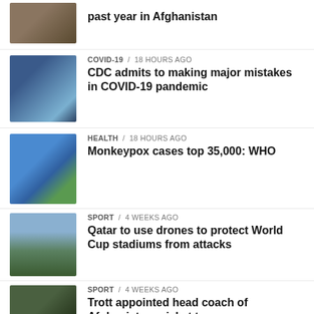past year in Afghanistan
COVID-19 / 18 hours ago
CDC admits to making major mistakes in COVID-19 pandemic
HEALTH / 18 hours ago
Monkeypox cases top 35,000: WHO
SPORT / 4 weeks ago
Qatar to use drones to protect World Cup stadiums from attacks
SPORT / 4 weeks ago
Trott appointed head coach of Afghanistan cricket team
WORLD / 4 weeks ago
Droupadi Murmu becomes India's first tribal